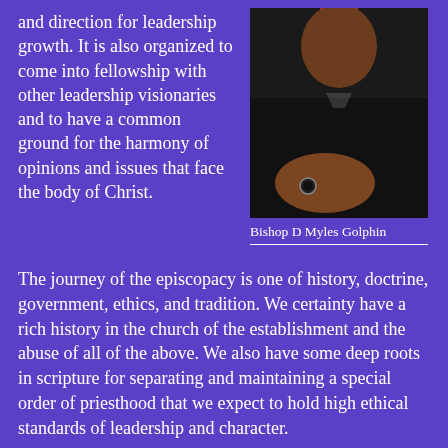and direction for leadership growth. It is also organized to come into fellowship with other leadership visionaries and to have a common ground for the harmony of opinions and issues that face the body of Christ.
[Figure (photo): Portrait photo of Bishop D Myles Golphin, a man in a black jacket with a red tie, arms crossed, wearing a ring.]
Bishop D Myles Golphin
The journey of the episcopacy is one of history, doctrine, government, ethics, and tradition. We certainty have a rich history in the church of the establishment and the abuse of all of the above. We also have some deep roots in scripture for separating and maintaining a special order of priesthood that we expect to hold high ethical standards of leadership and character.